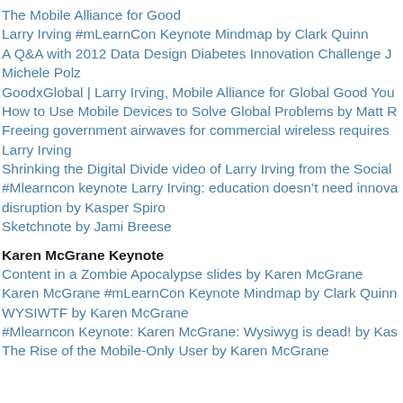The Mobile Alliance for Good
Larry Irving #mLearnCon Keynote Mindmap by Clark Quinn
A Q&A with 2012 Data Design Diabetes Innovation Challenge J Michele Polz
GoodxGlobal | Larry Irving, Mobile Alliance for Global Good You
How to Use Mobile Devices to Solve Global Problems by Matt R
Freeing government airwaves for commercial wireless requires Larry Irving
Shrinking the Digital Divide video of Larry Irving from the Social
#Mlearncon keynote Larry Irving: education doesn't need innova disruption by Kasper Spiro
Sketchnote by Jami Breese
Karen McGrane Keynote
Content in a Zombie Apocalypse slides by Karen McGrane
Karen McGrane #mLearnCon Keynote Mindmap by Clark Quinn
WYSIWTF by Karen McGrane
#Mlearncon Keynote: Karen McGrane: Wysiwyg is dead! by Kas
The Rise of the Mobile-Only User by Karen McGrane